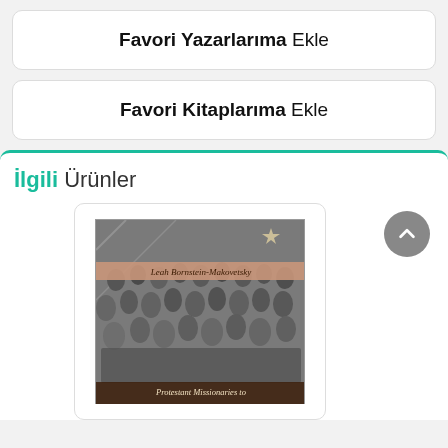Favori Yazarlarıma Ekle
Favori Kitaplarıma Ekle
İlgili Ürünler
[Figure (photo): Book cover of 'Protestant Missionaries to...' by Leah Bornstein-Makovetsky, showing a black and white group photo of many people including children, with a salmon/pink author name band across the upper portion and dark title band at the bottom.]